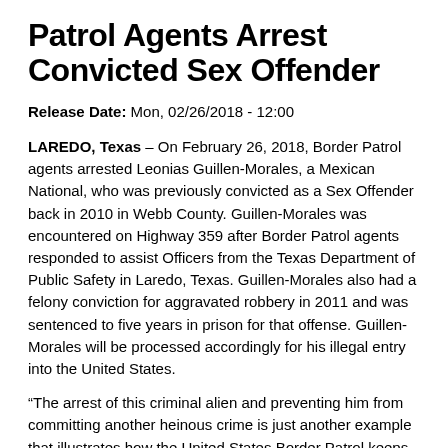Patrol Agents Arrest Convicted Sex Offender
Release Date: Mon, 02/26/2018 - 12:00
LAREDO, Texas – On February 26, 2018, Border Patrol agents arrested Leonias Guillen-Morales, a Mexican National, who was previously convicted as a Sex Offender back in 2010 in Webb County. Guillen-Morales was encountered on Highway 359 after Border Patrol agents responded to assist Officers from the Texas Department of Public Safety in Laredo, Texas. Guillen-Morales also had a felony conviction for aggravated robbery in 2011 and was sentenced to five years in prison for that offense. Guillen-Morales will be processed accordingly for his illegal entry into the United States.
“The arrest of this criminal alien and preventing him from committing another heinous crime is just another example that illustrates how the United States Border Patrol keeps our communities safe,” said Laredo Sector Assistant Chief Patrol Agent Gabriel Acosta.